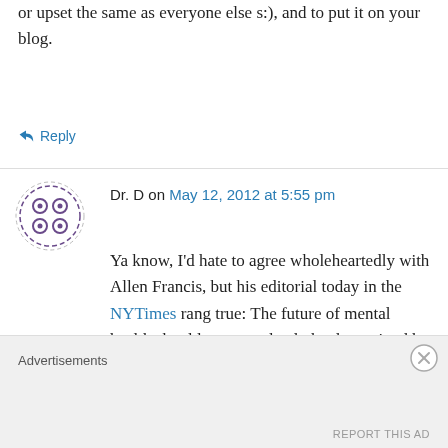or upset the same as everyone else s:), and to put it on your blog.
↳ Reply
Dr. D on May 12, 2012 at 5:55 pm
Ya know, I'd hate to agree wholeheartedly with Allen Francis, but his editorial today in the NYTimes rang true: The future of mental health should not completely be determined by academic psychiatrists.
↳ Reply
Advertisements
REPORT THIS AD